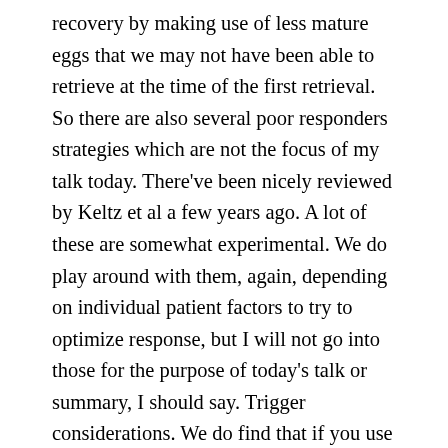recovery by making use of less mature eggs that we may not have been able to retrieve at the time of the first retrieval. So there are also several poor responders strategies which are not the focus of my talk today. There've been nicely reviewed by Keltz et al a few years ago. A lot of these are somewhat experimental. We do play around with them, again, depending on individual patient factors to try to optimize response, but I will not go into those for the purpose of today's talk or summary, I should say. Trigger considerations. We do find that if you use a GnRH agonist trigger that can limit pain symptoms. So certainly for the patient who is going to undergo subsequent surgery due to pain, et cetera, this would be a good consideration. It can be combined with a GnRH antagonist or a